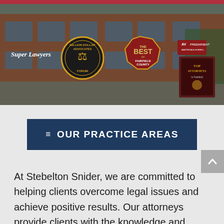[Figure (photo): Exterior photo of a brick law office building with award badges overlaid: Super Lawyers, Million Dollar Advocates Forum, Best of Fairfield County 2017, AV Preeminent, Top Attorneys]
≡ OUR PRACTICE AREAS
At Stebelton Snider, we are committed to helping clients overcome legal issues and achieve positive results. Our attorneys provide clients with the knowledge and options they need to make informed decisions and discover effective solutions.